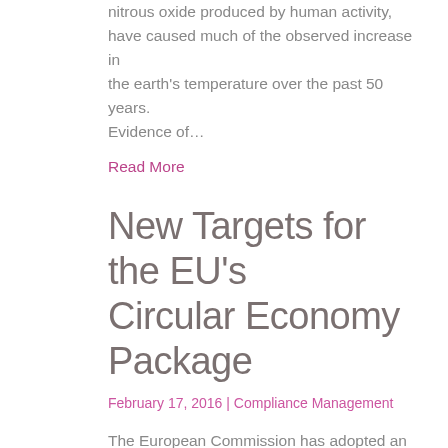nitrous oxide produced by human activity, have caused much of the observed increase in the earth's temperature over the past 50 years. Evidence of...
Read More
New Targets for the EU's Circular Economy Package
February 17, 2016 | Compliance Management
The European Commission has adopted an ambitious Circular Economy Package which includes revised legislative proposals on waste to stimulate Europe's transition towards a